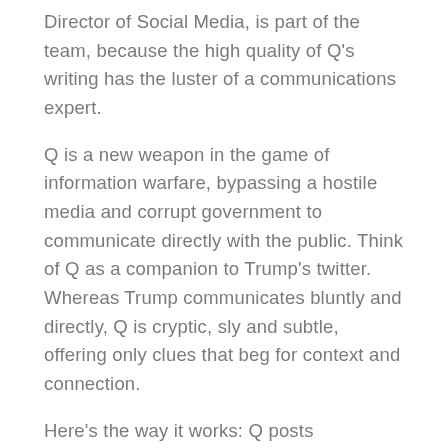Director of Social Media, is part of the team, because the high quality of Q's writing has the luster of a communications expert.
Q is a new weapon in the game of information warfare, bypassing a hostile media and corrupt government to communicate directly with the public. Think of Q as a companion to Trump's twitter. Whereas Trump communicates bluntly and directly, Q is cryptic, sly and subtle, offering only clues that beg for context and connection.
Here's the way it works: Q posts messages (also known as “drops” or “crumbs”) on an anonymous online forum, which are discussed,